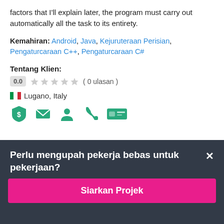factors that I'll explain later, the program must carry out automatically all the task to its entirety.
Kemahiran: Android, Java, Kejuruteraan Perisian, Pengaturcaraan C++, Pengaturcaraan C#
Tentang Klien:
0.0 ★★★★★ ( 0 ulasan )
🇮🇹 Lugano, Italy
[Figure (infographic): Row of 5 green shield/contact icons: payment verified, email, profile, phone, ID card]
ID Projek: #23778001
Perlu mengupah pekerja bebas untuk pekerjaan?
Siarkan Projek